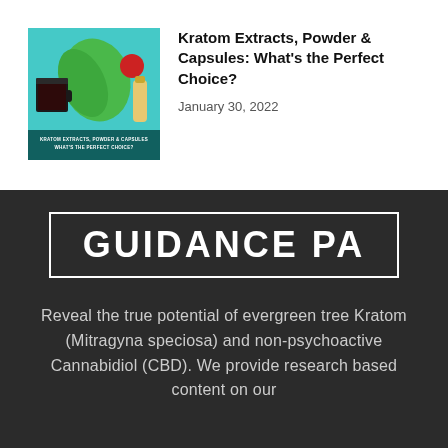[Figure (photo): Thumbnail image showing kratom products: a dark cup of kratom tea, green kratom leaves, and a bottle, on a teal/cyan background with overlay text reading 'KRATOM EXTRACTS, POWDER & CAPSULES: WHAT'S THE PERFECT CHOICE?']
Kratom Extracts, Powder & Capsules: What's the Perfect Choice?
January 30, 2022
GUIDANCE PA
Reveal the true potential of evergreen tree Kratom (Mitragyna speciosa) and non-psychoactive Cannabidiol (CBD). We provide research based content on our